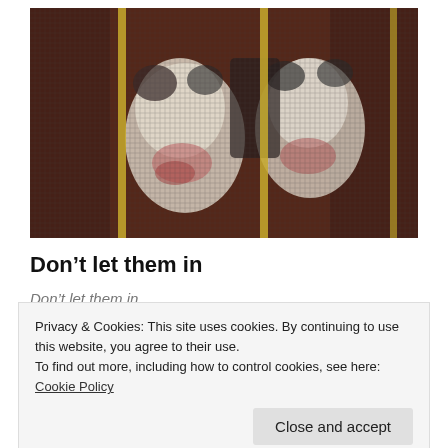[Figure (photo): A blurry photo showing what appears to be a dog or animal pressing against or viewed through a wire mesh/screen, with yellow/gold colored straps or bars visible across the mesh. The background is dark brownish-red.]
Don't let them in
Don't let them in
Privacy & Cookies: This site uses cookies. By continuing to use this website, you agree to their use.
To find out more, including how to control cookies, see here: Cookie Policy
Close and accept